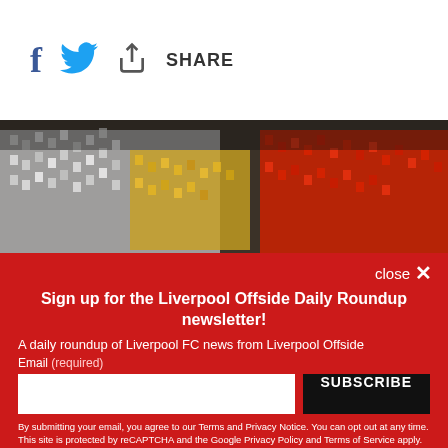[Figure (other): Social share bar with Facebook icon, Twitter bird icon, share/upload icon, and 'SHARE' text]
[Figure (photo): Stadium crowd holding up colored cards forming a mosaic pattern in white, yellow/gold, and red colors]
close ×
Sign up for the Liverpool Offside Daily Roundup newsletter!
A daily roundup of Liverpool FC news from Liverpool Offside
Email (required)
SUBSCRIBE
By submitting your email, you agree to our Terms and Privacy Notice. You can opt out at any time. This site is protected by reCAPTCHA and the Google Privacy Policy and Terms of Service apply.